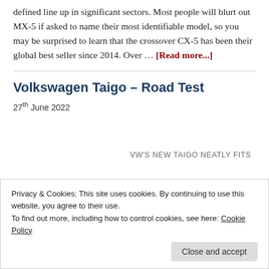defined line up in significant sectors. Most people will blurt out MX-5 if asked to name their most identifiable model, so you may be surprised to learn that the crossover CX-5 has been their global best seller since 2014. Over … [Read more...]
Volkswagen Taigo – Road Test
27th June 2022
VW'S NEW TAIGO NEATLY FITS
Privacy & Cookies: This site uses cookies. By continuing to use this website, you agree to their use.
To find out more, including how to control cookies, see here: Cookie Policy
Close and accept
inherently conservative car